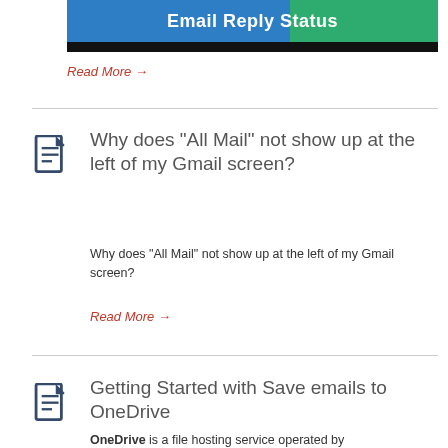[Figure (screenshot): Email Reply Status banner image with blue and green gradient header bar and black bottom bar]
Read More →
Why does “All Mail” not show up at the left of my Gmail screen?
Why does “All Mail” not show up at the left of my Gmail screen?
Read More →
Getting Started with Save emails to OneDrive
OneDrive is a file hosting service operated by